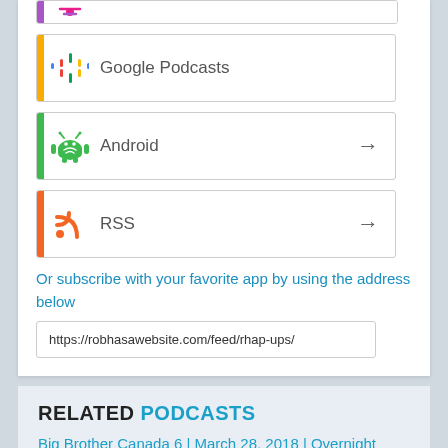[Figure (other): Google Podcasts app button with colorful dots icon and yellow left border]
[Figure (other): Android subscribe button with green Android robot icon and green left border, with arrow]
[Figure (other): RSS subscribe button with orange RSS icon and orange left border, with arrow]
Or subscribe with your favorite app by using the address below
https://robhasawebsite.com/feed/rhap-ups/
RELATED PODCASTS
Big Brother Canada 6 | March 28, 2018 | Overnight Update Podcast
Survivor Know-It-Alls | Ghost Island Episode 6 Recap